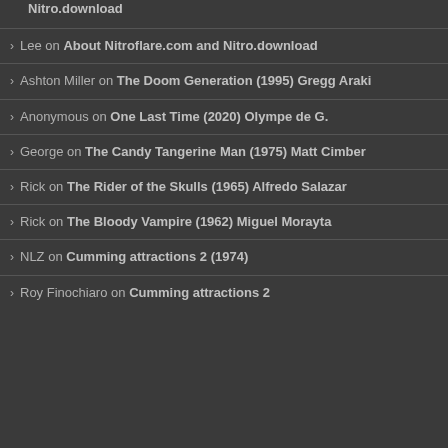Nitro.download
Lee on About Nitroflare.com and Nitro.download
Ashton Miller on The Doom Generation (1995) Gregg Araki
Anonymous on One Last Time (2020) Olympe de G.
George on The Candy Tangerine Man (1975) Matt Cimber
Rick on The Rider of the Skulls (1965) Alfredo Salazar
Rick on The Bloody Vampire (1962) Miguel Morayta
NLZ on Cumming attractions 2 (1974)
Roy Finochiaro on Cumming attractions 2